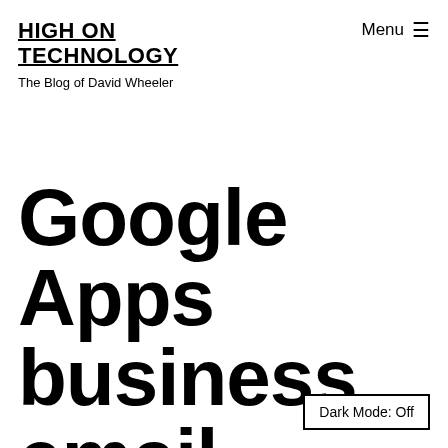HIGH ON TECHNOLOGY
The Blog of David Wheeler
Menu ☰
Google Apps business email hosting with
Dark Mode: Off